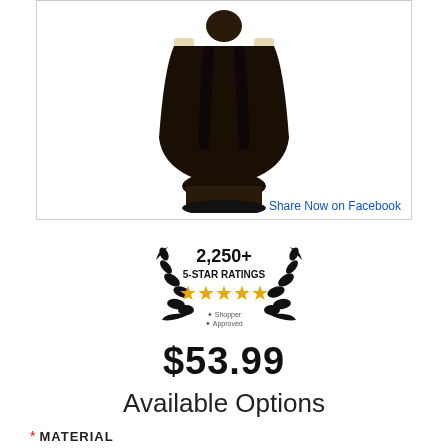[Figure (photo): A dark-robed religious figurine statue shown from the torso down, standing on a base, against a white background.]
Share Now on Facebook
[Figure (other): Laurel wreath badge showing '2,250+ 5-STAR RATINGS' with five gold stars and a Shopper Approved logo.]
$53.99
Available Options
* MATERIAL